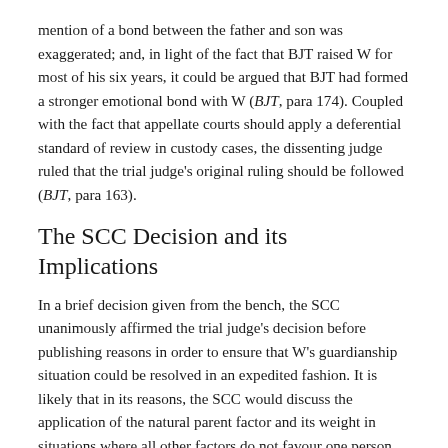mention of a bond between the father and son was exaggerated; and, in light of the fact that BJT raised W for most of his six years, it could be argued that BJT had formed a stronger emotional bond with W (BJT, para 174). Coupled with the fact that appellate courts should apply a deferential standard of review in custody cases, the dissenting judge ruled that the trial judge's original ruling should be followed (BJT, para 163).
The SCC Decision and its Implications
In a brief decision given from the bench, the SCC unanimously affirmed the trial judge's decision before publishing reasons in order to ensure that W's guardianship situation could be resolved in an expedited fashion. It is likely that in its reasons, the SCC would discuss the application of the natural parent factor and its weight in situations where all other factors do not favour one person having custody over another. While it's unlikely that the Court, assessing the best interest of the child, would dismiss the factor's importance